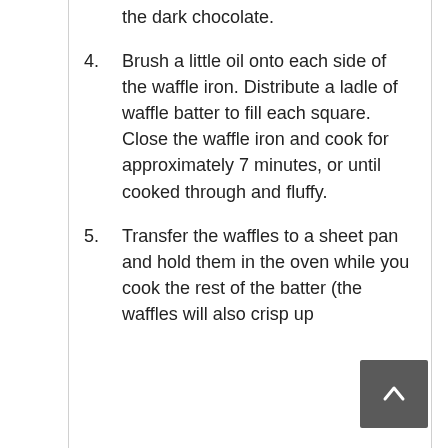the dark chocolate.
4. Brush a little oil onto each side of the waffle iron. Distribute a ladle of waffle batter to fill each square. Close the waffle iron and cook for approximately 7 minutes, or until cooked through and fluffy.
5. Transfer the waffles to a sheet pan and hold them in the oven while you cook the rest of the batter (the waffles will also crisp up